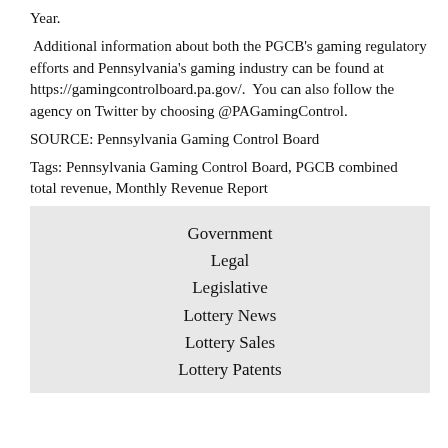Year.
Additional information about both the PGCB's gaming regulatory efforts and Pennsylvania's gaming industry can be found at https://gamingcontrolboard.pa.gov/.  You can also follow the agency on Twitter by choosing @PAGamingControl.
SOURCE: Pennsylvania Gaming Control Board
Tags: Pennsylvania Gaming Control Board, PGCB combined total revenue, Monthly Revenue Report
Government
Legal
Legislative
Lottery News
Lottery Sales
Lottery Patents